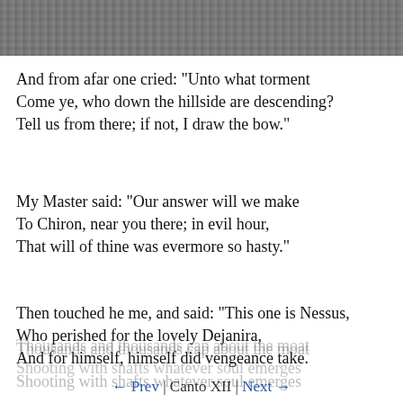[Figure (illustration): Black and white engraving illustration at top of page, depicting a scene from Dante's Inferno with figures on a hillside.]
And from afar one cried: "Unto what torment
Come ye, who down the hillside are descending?
Tell us from there; if not, I draw the bow."
My Master said: "Our answer will we make
To Chiron, near you there; in evil hour,
That will of thine was evermore so hasty."
Then touched he me, and said: "This one is Nessus,
Who perished for the lovely Dejanira,
And for himself, himself did vengeance take.
And he in the midst, who at his breast is gazing,
Is the great Chiron, who brought up Achilles;
That other Pholus is, who was so wrathful.
Thousands and thousands cap about the moat
Shooting with shafts whatever soul emerges
← Prev | Canto XII | Next →